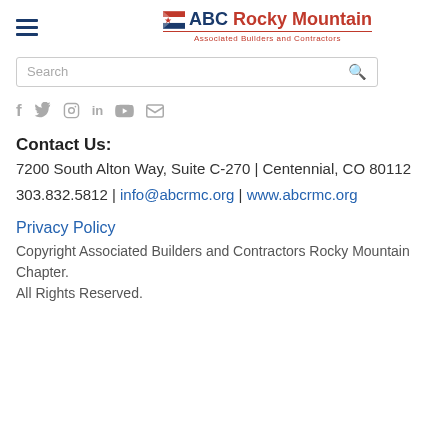[Figure (logo): ABC Rocky Mountain Associated Builders and Contractors logo with hamburger menu icon on the left]
[Figure (other): Search bar with placeholder text 'Search' and a search icon on the right]
[Figure (other): Social media icons: Facebook, Twitter, Instagram, LinkedIn, YouTube, Email]
Contact Us:
7200 South Alton Way, Suite C-270  |  Centennial, CO 80112
303.832.5812 | info@abcrmc.org | www.abcrmc.org
Privacy Policy
Copyright Associated Builders and Contractors Rocky Mountain Chapter.
All Rights Reserved.